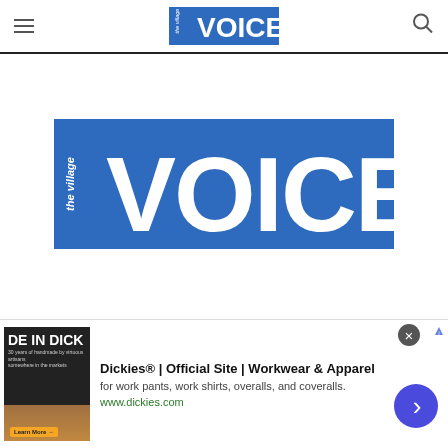the village VOICE — navigation header
[Figure (logo): The Village Voice logo — blue rectangle with white text: 'the village' vertically on left, 'VOICE' in large bold white letters]
[Figure (other): Advertisement: Dickies® | Official Site | Workwear & Apparel — for work pants, work shirts, overalls, and coveralls. www.dickies.com]